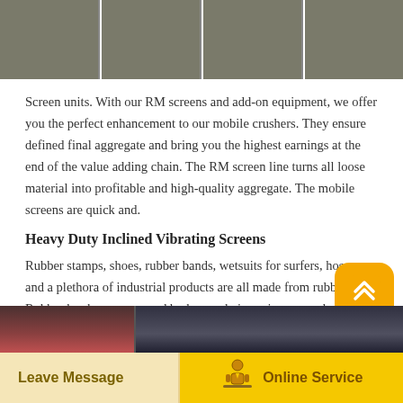[Figure (photo): Four construction site photos showing ground works, machinery, and gravel/aggregate processing equipment arranged side by side in a horizontal strip at the top of the page.]
Screen units. With our RM screens and add-on equipment, we offer you the perfect enhancement to our mobile crushers. They ensure defined final aggregate and bring you the highest earnings at the end of the value adding chain. The RM screen line turns all loose material into profitable and high-quality aggregate. The mobile screens are quick and.
Heavy Duty Inclined Vibrating Screens
Rubber stamps, shoes, rubber bands, wetsuits for surfers, hoses, and a plethora of industrial products are all made from rubber. Rubber has been processed by human beings since as early as 1600 BC, when early indigenous Mesoamerican cultures produced stabilized rubber for containers, waterproofing, and recreational balls.
[Figure (photo): Partial view of industrial/construction equipment images in a horizontal strip at the bottom of the content area.]
Leave Message   Online Service